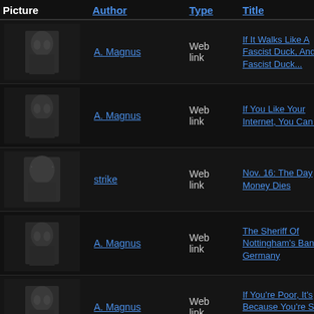| Picture | Author | Type | Title |
| --- | --- | --- | --- |
| [photo] | A. Magnus | Web link | If It Walks Like A Fascist Duck, And Fascist Duck... |
| [photo] | A. Magnus | Web link | If You Like Your Internet, You Can K... |
| [photo] | strike | Web link | Nov. 16: The Day Money Dies |
| [photo] | A. Magnus | Web link | The Sheriff Of Nottingham's Banking Germany |
| [photo] | A. Magnus | Web link | If You're Poor, It's Because You're S... Street... |
| [photo] | A. Magnus | Web link | The Best Way To Rob A Bank Is To... |
| [photo] | Government Deni... | Web link | The Plunge Protection Team Is Ope... Focused Chicago Office |
| [photo] |  | Web link |  |